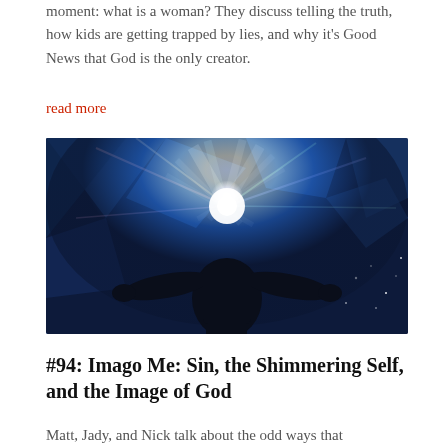moment: what is a woman? They discuss telling the truth, how kids are getting trapped by lies, and why it's Good News that God is the only creator.
read more
[Figure (illustration): A dramatic image of a silhouetted human figure with arms outstretched. A brilliant burst of white and rainbow light emanates from the figure's head, set against a background of geometric blue crystal-like shapes and starry darkness.]
#94: Imago Me: Sin, the Shimmering Self, and the Image of God
Matt, Jady, and Nick talk about the odd ways that